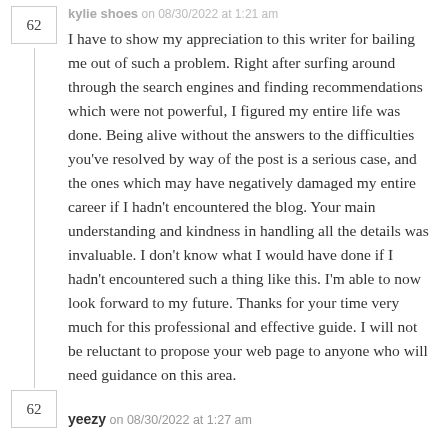kylie shoes on 08/30/2022 at 1:21 am
I have to show my appreciation to this writer for bailing me out of such a problem. Right after surfing around through the search engines and finding recommendations which were not powerful, I figured my entire life was done. Being alive without the answers to the difficulties you've resolved by way of the post is a serious case, and the ones which may have negatively damaged my entire career if I hadn't encountered the blog. Your main understanding and kindness in handling all the details was invaluable. I don't know what I would have done if I hadn't encountered such a thing like this. I'm able to now look forward to my future. Thanks for your time very much for this professional and effective guide. I will not be reluctant to propose your web page to anyone who will need guidance on this area.
yeezy on 08/30/2022 at 1:27 am